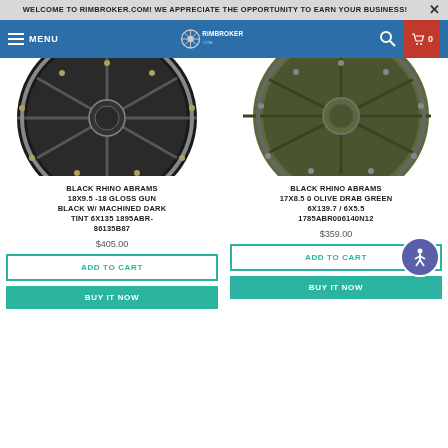WELCOME TO RIMBROKER.COM! WE APPRECIATE THE OPPORTUNITY TO EARN YOUR BUSINESS!
[Figure (screenshot): RimBroker.com navigation bar with hamburger menu, logo, search icon, and cart button showing 0 items]
[Figure (photo): Black Rhino Abrams wheel in gloss gun black with machined dark tint finish, 18x9.5 -18 6x135]
BLACK RHINO ABRAMS 18X9.5 -18 GLOSS GUN BLACK W/ MACHINED DARK TINT 6X135 1895ABR-86135B87
$405.00
[Figure (photo): Black Rhino Abrams wheel in olive drab green finish, 17x8.5 0 6x139.7 / 6x5.5]
BLACK RHINO ABRAMS 17X8.5 0 OLIVE DRAB GREEN 6X139.7 / 6X5.5 1785ABR006140N12
$359.00